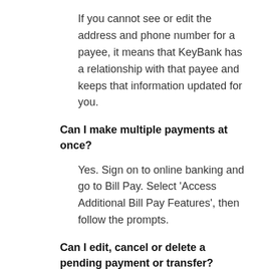If you cannot see or edit the address and phone number for a payee, it means that KeyBank has a relationship with that payee and keeps that information updated for you.
Can I make multiple payments at once?
Yes. Sign on to online banking and go to Bill Pay. Select 'Access Additional Bill Pay Features', then follow the prompts.
Can I edit, cancel or delete a pending payment or transfer?